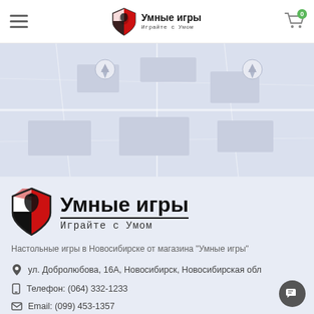Умные игры — Играйте с Умом (header navigation with logo and cart)
[Figure (map): Map view showing location markers in Novosibirsk area with light blue/grey tiles]
[Figure (logo): Умные игры logo with shield icon (red/white/black horse design) and bold Cyrillic text 'Умные игры' with subtitle 'Играйте с Умом']
Настольные игры в Новосибирске от магазина "Умные игры"
ул. Добролюбова, 16А, Новосибирск, Новосибирская обл
Телефон: (064) 332-1233
Email: (099) 453-1357